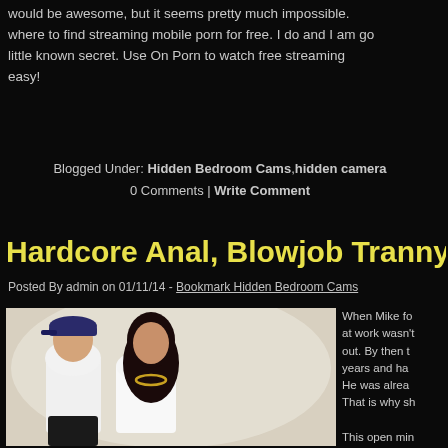would be awesome, but it seems pretty much impossible. where to find streaming mobile porn for free. I do and I am go little known secret. Use On Porn to watch free streaming easy!
Blogged Under: Hidden Bedroom Cams,hidden camera 0 Comments | Write Comment
Hardcore Anal, Blowjob Tranny Couple
Posted By admin on 01/11/14 - Bookmark Hidden Bedroom Cams
[Figure (photo): Photo of a couple: a man in white shirt and dark cap and a woman in white top with long dark hair, posed together against a light background.]
When Mike fo at work wasn't out. By then t years and ha He was alrea That is why sh This open min allowing you bedroom cam her tight flesh your hardon a